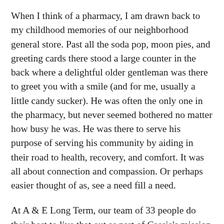When I think of a pharmacy, I am drawn back to my childhood memories of our neighborhood general store. Past all the soda pop, moon pies, and greeting cards there stood a large counter in the back where a delightful older gentleman was there to greet you with a smile (and for me, usually a little candy sucker). He was often the only one in the pharmacy, but never seemed bothered no matter how busy he was. He was there to serve his purpose of serving his community by aiding in their road to health, recovery, and comfort. It was all about connection and compassion. Or perhaps easier thought of as, see a need fill a need.
At A & E Long Term, our team of 33 people do their best to live that out as part of Cassia's mission of striving to inspire residents to live the lives that are most fulfilling to them. They are not the typical retail or mail-order pharmacies. It is not just about filling the prescriptions, but also about helping the residents and their families when they...